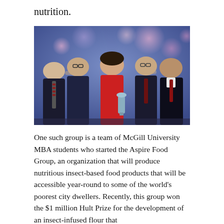nutrition.
[Figure (photo): Five smiling young people (four men and one woman in a red dress) posing together on a stage with bokeh lights in background; the woman holds a metallic trophy. This is the Aspire Food Group team celebrating their Hult Prize win.]
One such group is a team of McGill University MBA students who started the Aspire Food Group, an organization that will produce nutritious insect-based food products that will be accessible year-round to some of the world’s poorest city dwellers. Recently, this group won the $1 million Hult Prize for the development of an insect-infused flour that